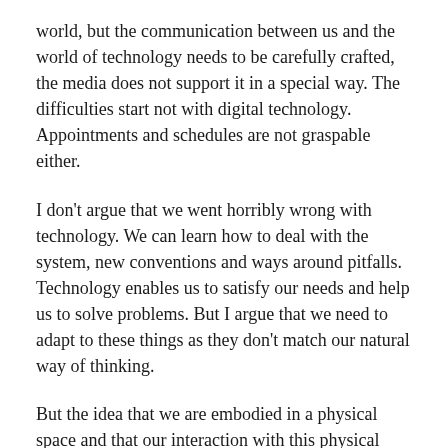world, but the communication between us and the world of technology needs to be carefully crafted, the media does not support it in a special way. The difficulties start not with digital technology. Appointments and schedules are not graspable either.
I don't argue that we went horribly wrong with technology. We can learn how to deal with the system, new conventions and ways around pitfalls. Technology enables us to satisfy our needs and help us to solve problems. But I argue that we need to adapt to these things as they don't match our natural way of thinking.
But the idea that we are embodied in a physical space and that our interaction with this physical world shaped our brains in nature and nurture is often forgotten or replaced by the idea that we have our bodies to carry our precious brains around to make them access new data.